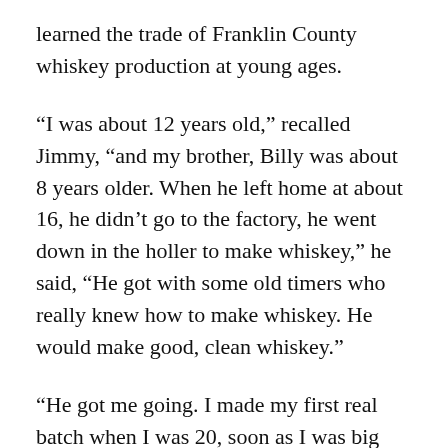learned the trade of Franklin County whiskey production at young ages.
“I was about 12 years old,” recalled Jimmy, “and my brother, Billy was about 8 years older. When he left home at about 16, he didn’t go to the factory, he went down in the holler to make whiskey,” he said, “He got with some old timers who really knew how to make whiskey. He would make good, clean whiskey.”
“He got me going. I made my first real batch when I was 20, soon as I was big enough to haul a 100 pound bag of sugar.  But back in those days we didn’t use any sugar on the first run.  It was pure grain, no sugar.  We would save back the backwash from that first run, the grain and the yeast, add some barley malt and a little sugar and the yeast would go again, and that’d be our second run, the